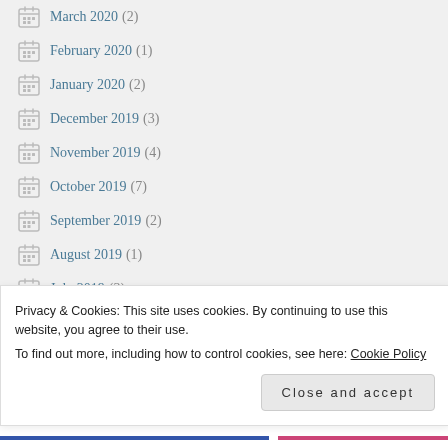March 2020 (2)
February 2020 (1)
January 2020 (2)
December 2019 (3)
November 2019 (4)
October 2019 (7)
September 2019 (2)
August 2019 (1)
July 2019 (3)
June 2019 (3)
Privacy & Cookies: This site uses cookies. By continuing to use this website, you agree to their use. To find out more, including how to control cookies, see here: Cookie Policy
Close and accept